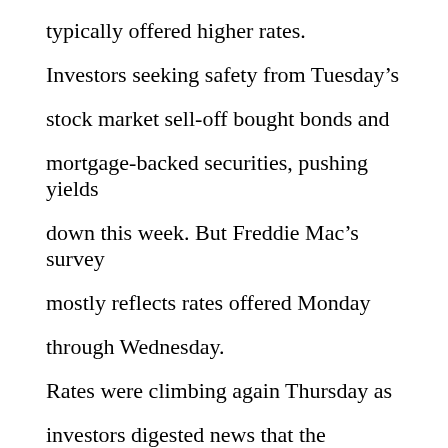typically offered higher rates.

Investors seeking safety from Tuesday's stock market sell-off bought bonds and mortgage-backed securities, pushing yields down this week. But Freddie Mac's survey mostly reflects rates offered Monday through Wednesday.

Rates were climbing again Thursday as investors digested news that the economy contracted in the first quarter, and minutes